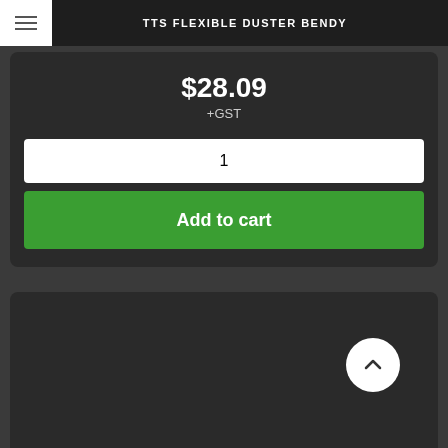TTS FLEXIBLE DUSTER BENDY
$28.09
+GST
1
Add to cart